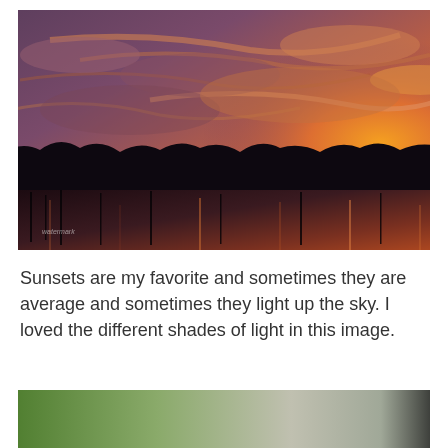[Figure (photo): Sunset landscape photograph showing a dramatic sky with orange and purple-tinted clouds over a silhouetted treeline and a calm water body reflecting the warm sunset colors. A small watermark/signature is visible in the lower-left corner.]
Sunsets are my favorite and sometimes they are average and sometimes they light up the sky. I loved the different shades of light in this image.
[Figure (photo): Partial view of another photograph showing green and grey blurred tones, partially cut off at the bottom of the page.]